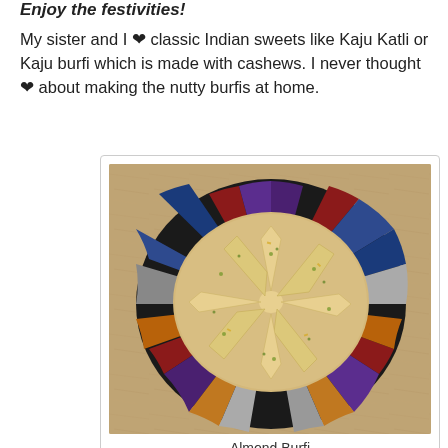Enjoy the festivities!
My sister and I ❤ classic Indian sweets like Kaju Katli or Kaju burfi which is made with cashews. I never thought ❤ about making the nutty burfis at home.
[Figure (photo): Almond burfi pieces arranged in a star/flower pattern on a colorful mosaic decorative plate, on a granite countertop]
Almond Burfi